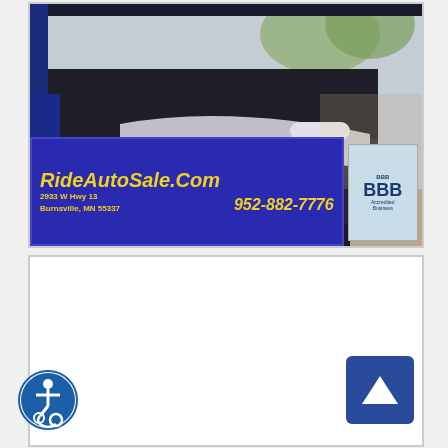[Figure (photo): Interior photo of a car door panel showing dark upholstery and a white/silver door handle, with blue exterior visible. Overlaid with a dealer banner for RideAutoSale.Com showing address 2933 W Hwy 13, Burnsville, MN 55337, phone 952-882-7776, and a BBB Accredited Business badge.]
[Figure (other): Empty white container/box below the car photo, likely a placeholder or map area.]